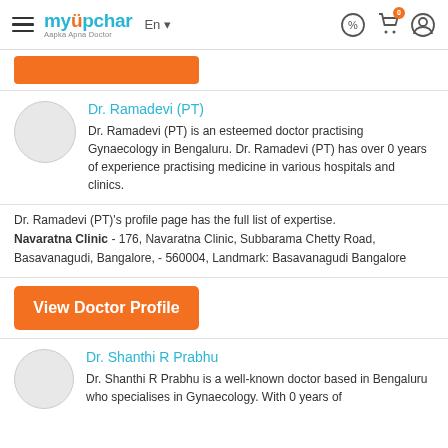myUpchar — Aapka Apna Doctor
[Figure (illustration): Orange button/banner strip at top of listing]
Dr. Ramadevi (PT)
Dr. Ramadevi (PT) is an esteemed doctor practising Gynaecology in Bengaluru. Dr. Ramadevi (PT) has over 0 years of experience practising medicine in various hospitals and clinics.
Dr. Ramadevi (PT)'s profile page has the full list of expertise.
Navaratna Clinic - 176, Navaratna Clinic, Subbarama Chetty Road, Basavanagudi, Bangalore, - 560004, Landmark: Basavanagudi Bangalore
View Doctor Profile
Dr. Shanthi R Prabhu
Dr. Shanthi R Prabhu is a well-known doctor based in Bengaluru who specialises in Gynaecology. With 0 years of